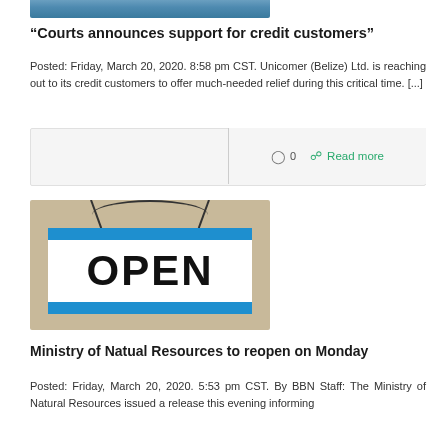[Figure (photo): Partial cropped image at the top of the page (blue tones, appears to be clothing or fabric)]
“Courts announces support for credit customers”
Posted: Friday, March 20, 2020. 8:58 pm CST. Unicomer (Belize) Ltd. is reaching out to its credit customers to offer much-needed relief during this critical time. [...]
0   Read more
[Figure (photo): Photo of a blue and white OPEN sign hanging on a wire against a tan/beige wall background]
Ministry of Natual Resources to reopen on Monday
Posted: Friday, March 20, 2020. 5:53 pm CST. By BBN Staff: The Ministry of Natural Resources issued a release this evening informing